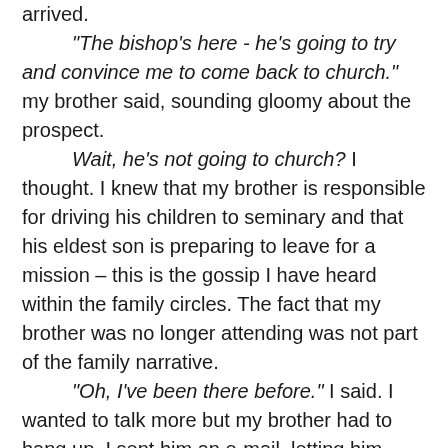arrived. "The bishop's here - he's going to try and convince me to come back to church." my brother said, sounding gloomy about the prospect. Wait, he's not going to church? I thought. I knew that my brother is responsible for driving his children to seminary and that his eldest son is preparing to leave for a mission – this is the gossip I have heard within the family circles. The fact that my brother was no longer attending was not part of the family narrative. "Oh, I've been there before." I said. I wanted to talk more but my brother had to hang up. I sent him an e-mail, letting him know that if he ever wanted to talk, I was happy to listen. He has not replied. I am silent because I do not want to cause a rift in my brother's family or be labeled as the corrupting apostate influence. I assume my brother is quiet for similar reasons; I am the baby, the little sister he doesn't know well enough to trust. Even within my